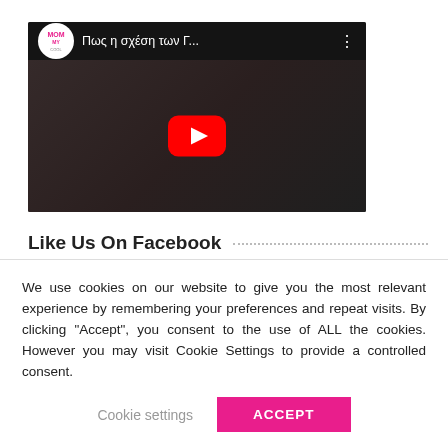[Figure (screenshot): YouTube video thumbnail showing a Greek-language video titled 'Πως η σχέση των Γ...' from the Mommy Cool channel, with a woman in a pink jacket and a red YouTube play button overlay.]
Like Us On Facebook
We use cookies on our website to give you the most relevant experience by remembering your preferences and repeat visits. By clicking “Accept”, you consent to the use of ALL the cookies. However you may visit Cookie Settings to provide a controlled consent.
Cookie settings    ACCEPT